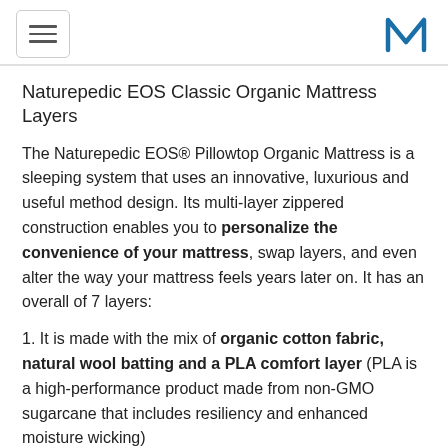[hamburger menu button] [M logo]
Naturepedic EOS Classic Organic Mattress Layers
The Naturepedic EOS® Pillowtop Organic Mattress is a sleeping system that uses an innovative, luxurious and useful method design. Its multi-layer zippered construction enables you to personalize the convenience of your mattress, swap layers, and even alter the way your mattress feels years later on. It has an overall of 7 layers:
1. It is made with the mix of organic cotton fabric, natural wool batting and a PLA comfort layer (PLA is a high-performance product made from non-GMO sugarcane that includes resiliency and enhanced moisture wicking)